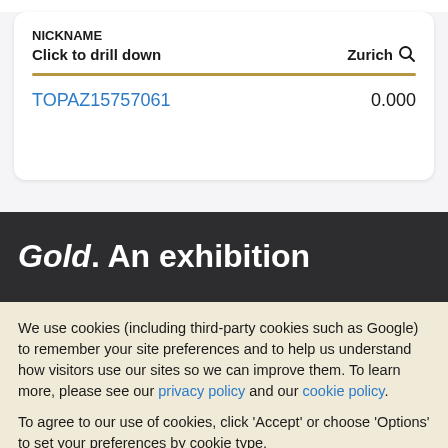NICKNAME
Click to drill down   Zurich
TOPAZ15757061   0.000
Gold. An exhibition
We use cookies (including third-party cookies such as Google) to remember your site preferences and to help us understand how visitors use our sites so we can improve them. To learn more, please see our privacy policy and our cookie policy.
To agree to our use of cookies, click 'Accept' or choose 'Options' to set your preferences by cookie type.